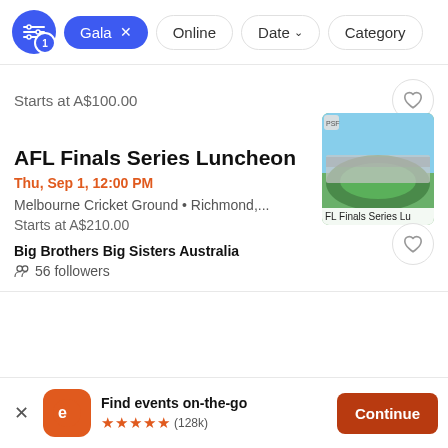[Figure (screenshot): Filter bar with icons: filter button with badge '1', active pill 'Gala x', pills 'Online', 'Date v', 'Category']
Starts at A$100.00
AFL Finals Series Luncheon
Thu, Sep 1, 12:00 PM
Melbourne Cricket Ground • Richmond,...
Starts at A$210.00
Big Brothers Big Sisters Australia
56 followers
Find events on-the-go
★★★★★ (128k)
Continue